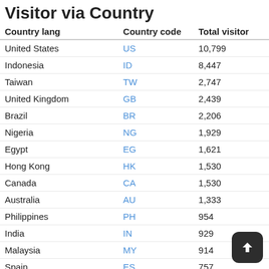Visitor via Country
| Country lang | Country code | Total visitor |
| --- | --- | --- |
| United States | US | 10,799 |
| Indonesia | ID | 8,447 |
| Taiwan | TW | 2,747 |
| United Kingdom | GB | 2,439 |
| Brazil | BR | 2,206 |
| Nigeria | NG | 1,929 |
| Egypt | EG | 1,621 |
| Hong Kong | HK | 1,530 |
| Canada | CA | 1,530 |
| Australia | AU | 1,333 |
| Philippines | PH | 954 |
| India | IN | 929 |
| Malaysia | MY | 914 |
| Spain | ES | 757 |